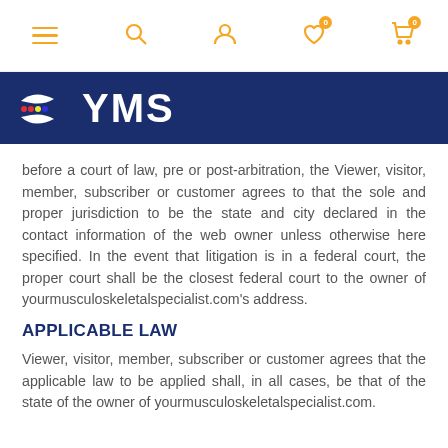Navigation bar with menu, search, user, wishlist (0), cart (0) icons
[Figure (logo): YMS (Your Musculoskeletal Specialist) logo on dark navy blue banner background with white hands icon]
before a court of law, pre or post-arbitration, the Viewer, visitor, member, subscriber or customer agrees to that the sole and proper jurisdiction to be the state and city declared in the contact information of the web owner unless otherwise here specified. In the event that litigation is in a federal court, the proper court shall be the closest federal court to the owner of yourmusculoskeletalspecialist.com’s address.
APPLICABLE LAW
Viewer, visitor, member, subscriber or customer agrees that the applicable law to be applied shall, in all cases, be that of the state of the owner of yourmusculoskeletalspecialist.com.